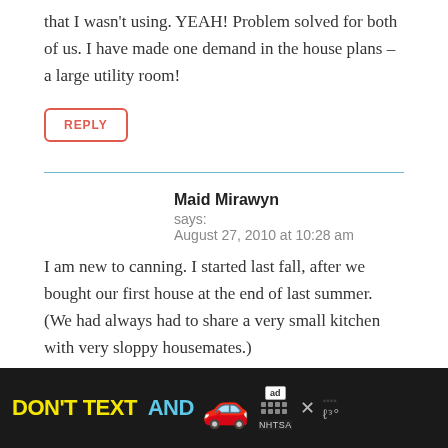that I wasn't using. YEAH! Problem solved for both of us. I have made one demand in the house plans – a large utility room!
REPLY
Maid Mirawyn
says:
August 27, 2010 at 10:28 am
I am new to canning. I started last fall, after we bought our first house at the end of last summer. (We had always had to share a very small kitchen with very sloppy housemates.)
[Figure (other): Advertisement banner: 'DON'T TEXT AND' with car emoji and NHTSA logo on dark background]